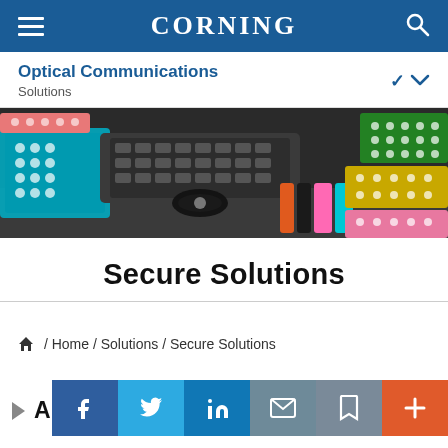CORNING
Optical Communications
Solutions
[Figure (photo): Photo of fiber optic connectors, cables, and patch panels in various colors including teal, orange, green, yellow, and pink on a dark background]
Secure Solutions
Home / Solutions / Secure Solutions
A Clos